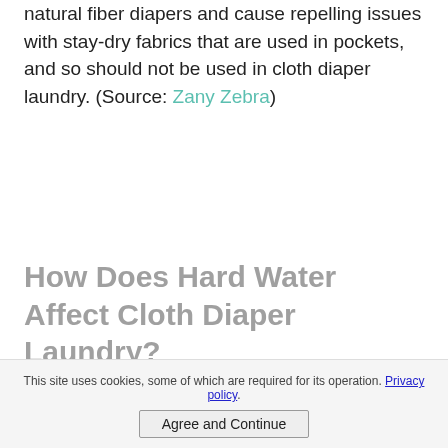natural fiber diapers and cause repelling issues with stay-dry fabrics that are used in pockets, and so should not be used in cloth diaper laundry. (Source: Zany Zebra)
How Does Hard Water Affect Cloth Diaper Laundry?
This site uses cookies, some of which are required for its operation. Privacy policy.